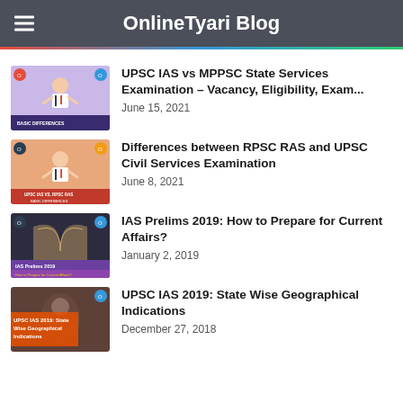OnlineTyari Blog
UPSC IAS vs MPPSC State Services Examination – Vacancy, Eligibility, Exam...
June 15, 2021
Differences between RPSC RAS and UPSC Civil Services Examination
June 8, 2021
IAS Prelims 2019: How to Prepare for Current Affairs?
January 2, 2019
UPSC IAS 2019: State Wise Geographical Indications
December 27, 2018